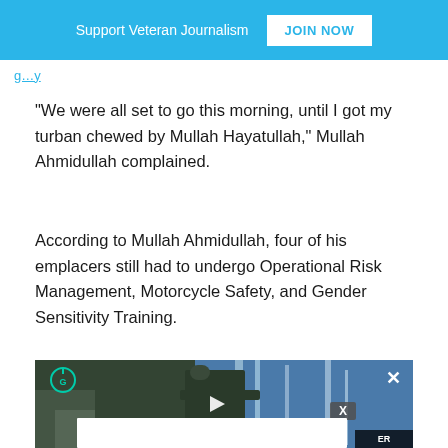Support Veteran Journalism  JOIN NOW
“We were all set to go this morning, until I got my turban chewed by Mullah Hayatullah,” Mullah Ahmidullah complained.
According to Mullah Ahmidullah, four of his emplacers still had to undergo Operational Risk Management, Motorcycle Safety, and Gender Sensitivity Training.
[Figure (screenshot): Video player showing a soldier with a weapon near a waterfall, with play button overlay, close button, small ad overlay, and a logo icon in top left.]